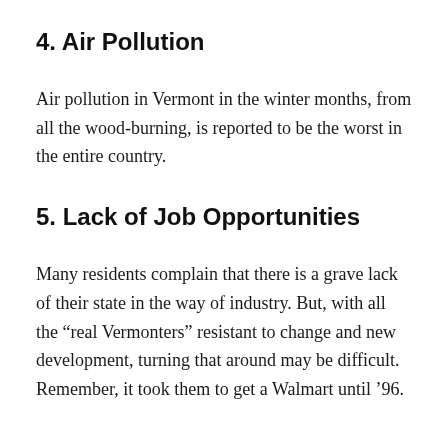4. Air Pollution
Air pollution in Vermont in the winter months, from all the wood-burning, is reported to be the worst in the entire country.
5. Lack of Job Opportunities
Many residents complain that there is a grave lack of their state in the way of industry. But, with all the “real Vermonters” resistant to change and new development, turning that around may be difficult. Remember, it took them to get a Walmart until ’96.